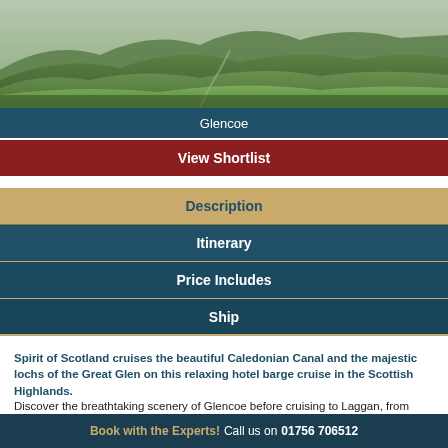[Figure (photo): Aerial view of green hilly Scottish Highlands landscape, Glencoe]
Glencoe
View Shortlist
Description
Itinerary
Price Includes
Ship
Spirit of Scotland cruises the beautiful Caledonian Canal and the majestic lochs of the Great Glen on this relaxing hotel barge cruise in the Scottish Highlands.
Discover the breathtaking scenery of Glencoe before cruising to Laggan, from where you can explore Eilean Donan castle, one of the most photographed in Scotland and featured in
Book with the Experts! Call us on 01756 706512